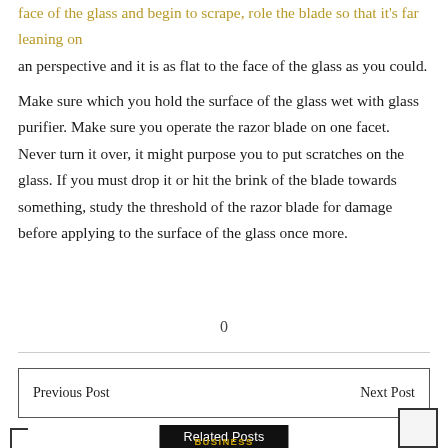face of the glass and begin to scrape, role the blade so that it's far leaning on an perspective and it is as flat to the face of the glass as you could.
Make sure which you hold the surface of the glass wet with glass purifier. Make sure you operate the razor blade on one facet. Never turn it over, it might purpose you to put scratches on the glass. If you must drop it or hit the brink of the blade towards something, study the threshold of the razor blade for damage before applying to the surface of the glass once more.
0
Previous Post                                         Next Post
Related Posts
BUSINESS